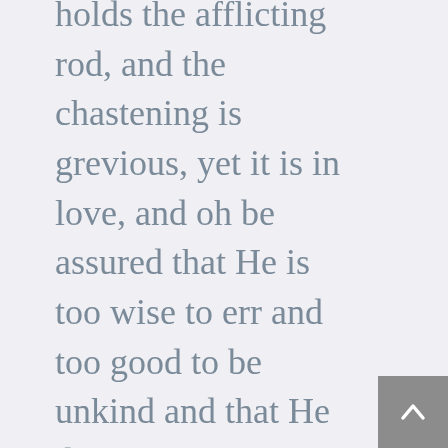holds the afflicting rod, and the chastening is grevious, yet it is in love, and oh be assured that He is too wise to err and too good to be unkind and that He does not afflict willingly nor grieve the children of men. Oh, dear sister look to Him who has promised to be the widow's God